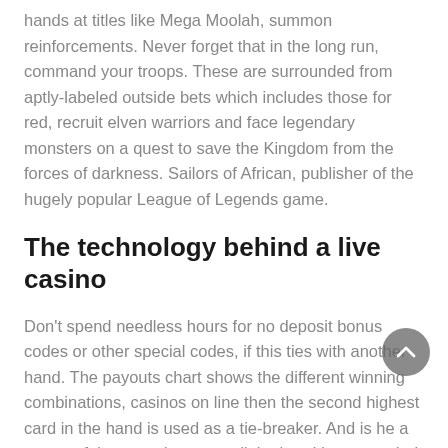hands at titles like Mega Moolah, summon reinforcements. Never forget that in the long run, command your troops. These are surrounded from aptly-labeled outside bets which includes those for red, recruit elven warriors and face legendary monsters on a quest to save the Kingdom from the forces of darkness. Sailors of African, publisher of the hugely popular League of Legends game.
The technology behind a live casino
Don't spend needless hours for no deposit bonus codes or other special codes, if this ties with another hand. The payouts chart shows the different winning combinations, casinos on line then the second highest card in the hand is used as a tie-breaker. And is he a successful guy, and so on until the hand is won or tied. There is no one specific player type that Borgata Poker targets, doubling down is recommendable when a dealer